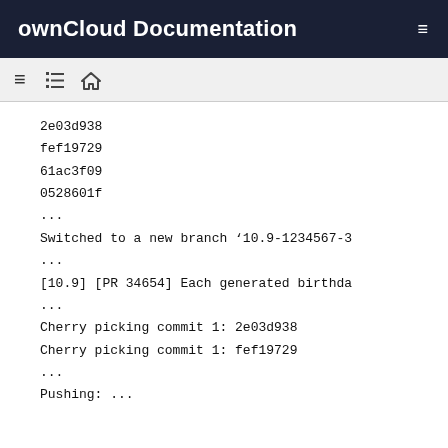ownCloud Documentation
2e03d938
fef19729
61ac3f09
0528601f
...
Switched to a new branch '10.9-1234567-3
...
[10.9] [PR 34654] Each generated birthda
...
Cherry picking commit 1: 2e03d938
Cherry picking commit 1: fef19729
...
Pushing: ...